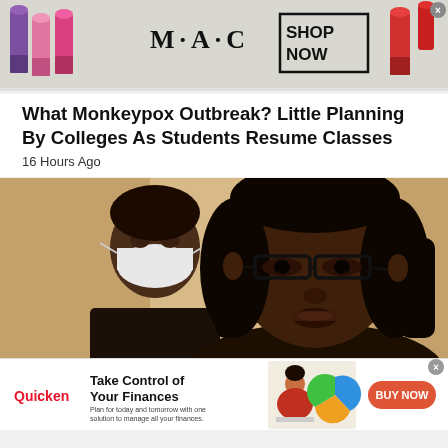[Figure (screenshot): MAC Cosmetics advertisement banner showing lipsticks and 'SHOP NOW' button]
What Monkeypox Outbreak? Little Planning By Colleges As Students Resume Classes
16 Hours Ago
[Figure (photo): Photo of a woman with glasses in the foreground and another person wearing a mask in the background]
[Figure (screenshot): Quicken advertisement: Take Control of Your Finances - Plan for today and tomorrow with one solution to manage all your finances. BUY NOW button.]